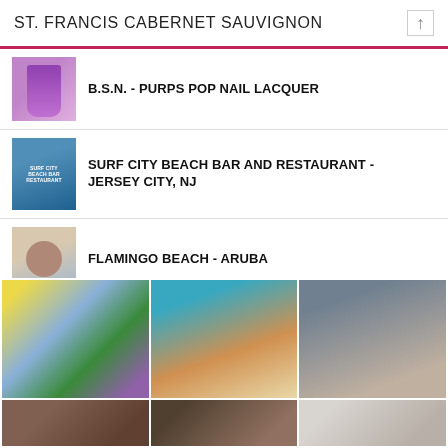ST. FRANCIS CABERNET SAUVIGNON
B.S.N. - PURPS POP NAIL LACQUER
SURF CITY BEACH BAR AND RESTAURANT - JERSEY CITY, NJ
FLAMINGO BEACH - ARUBA
[Figure (photo): Grid of 6 lifestyle/travel photos including beach scenes and group photos]